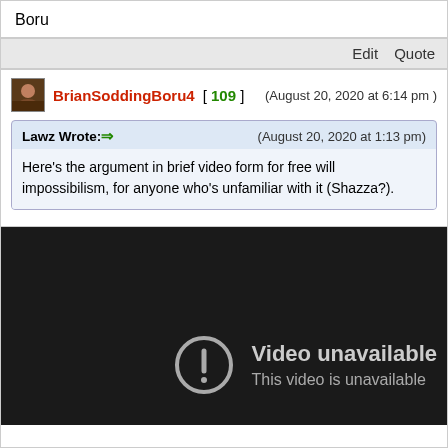Boru
Edit   Quote
BrianSoddingBoru4 [ 109 ]  (August 20, 2020 at 6:14 pm )
Lawz Wrote:➡  (August 20, 2020 at 1:13 pm)
Here's the argument in brief video form for free will impossibilism, for anyone who's unfamiliar with it (Shazza?).
[Figure (screenshot): Embedded YouTube video player showing 'Video unavailable' error with a circle-exclamation icon and text 'Video unavailable / This video is unavailable']